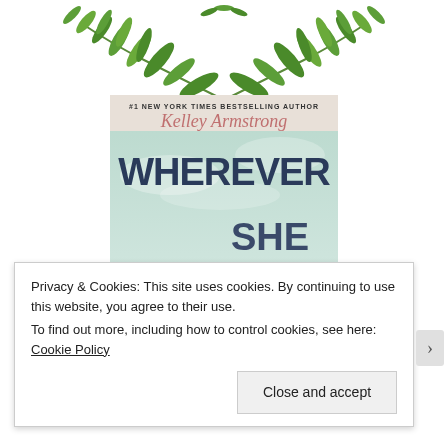[Figure (illustration): Decorative green botanical leaves/branches arranged symmetrically at the top of the page]
[Figure (photo): Book cover of 'Wherever She Goes' by Kelley Armstrong, #1 New York Times Bestselling Author. Cover shows sky with large text WHEREVER SHE GOES and a silhouette figure.]
Privacy & Cookies: This site uses cookies. By continuing to use this website, you agree to their use.
To find out more, including how to control cookies, see here: Cookie Policy
Close and accept